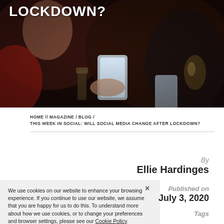[Figure (photo): Dark atmospheric photo of people at a bar/social setting looking at smartphones, with drinks on the table. A white bold uppercase heading 'LOCKDOWN?' overlaid at top left.]
HOME // MAGAZINE / BLOG /
THIS WEEK IN SOCIAL: WILL SOCIAL MEDIA CHANGE AFTER LOCKDOWN?
By
Ellie Hardinges
We use cookies on our website to enhance your browsing experience. If you continue to use our website, we assume that you are happy for us to do this. To understand more about how we use cookies, or to change your preferences and browser settings, please see our Cookie Policy.
Published on
July 3, 2020
Tags